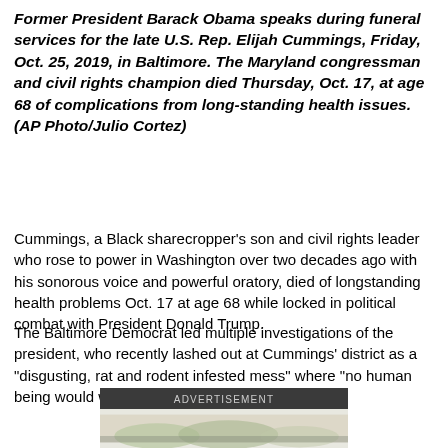Former President Barack Obama speaks during funeral services for the late U.S. Rep. Elijah Cummings, Friday, Oct. 25, 2019, in Baltimore. The Maryland congressman and civil rights champion died Thursday, Oct. 17, at age 68 of complications from long-standing health issues. (AP Photo/Julio Cortez)
Cummings, a Black sharecropper's son and civil rights leader who rose to power in Washington over two decades ago with his sonorous voice and powerful oratory, died of longstanding health problems Oct. 17 at age 68 while locked in political combat with President Donald Trump.
The Baltimore Democrat led multiple investigations of the president, who recently lashed out at Cummings' district as a "disgusting, rat and rodent infested mess" where "no human being would want to live."
[Figure (other): Advertisement banner with dark background showing ADVERTISEMENT text label and partial image below]